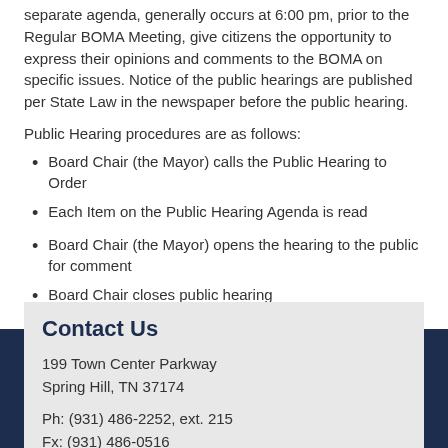separate agenda, generally occurs at 6:00 pm, prior to the Regular BOMA Meeting, give citizens the opportunity to express their opinions and comments to the BOMA on specific issues. Notice of the public hearings are published per State Law in the newspaper before the public hearing.
Public Hearing procedures are as follows:
Board Chair (the Mayor) calls the Public Hearing to Order
Each Item on the Public Hearing Agenda is read
Board Chair (the Mayor) opens the hearing to the public for comment
Board Chair closes public hearing
Contact Us
199 Town Center Parkway
Spring Hill, TN 37174
Ph: (931) 486-2252, ext. 215
Fx: (931) 486-0516